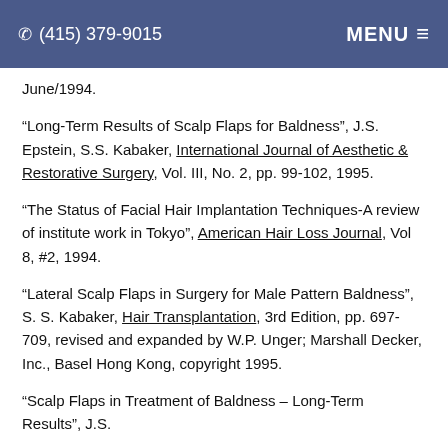(415) 379-9015  MENU
June/1994.
“Long-Term Results of Scalp Flaps for Baldness”, J.S. Epstein, S.S. Kabaker, International Journal of Aesthetic & Restorative Surgery, Vol. III, No. 2, pp. 99-102, 1995.
“The Status of Facial Hair Implantation Techniques-A review of institute work in Tokyo”, American Hair Loss Journal, Vol 8, #2, 1994.
“Lateral Scalp Flaps in Surgery for Male Pattern Baldness”, S. S. Kabaker, Hair Transplantation, 3rd Edition, pp. 697-709, revised and expanded by W.P. Unger; Marshall Decker, Inc., Basel Hong Kong, copyright 1995.
“Scalp Flaps in Treatment of Baldness – Long-Term Results”, J.S.